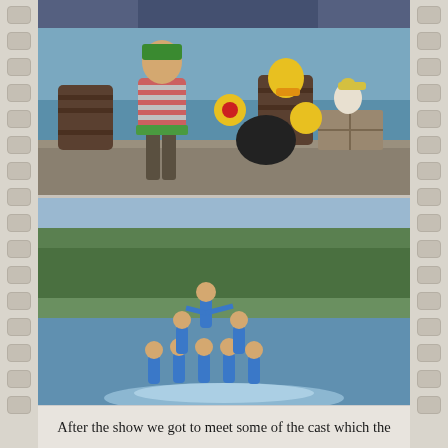[Figure (photo): Top photo (partially cropped): pirate-themed show with a man in striped shirt and green bandana, barrels in background near water, character in bird/pirate costume doing acrobatic move.]
[Figure (photo): Bottom photo: water ski show performers forming a human pyramid on a lake, wearing blue costumes, with green trees in background.]
After the show we got to meet some of the cast which the